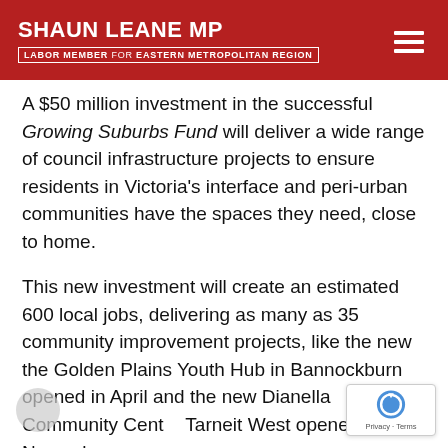SHAUN LEANE MP | LABOR MEMBER for EASTERN METROPOLITAN REGION
A $50 million investment in the successful Growing Suburbs Fund will deliver a wide range of council infrastructure projects to ensure residents in Victoria's interface and peri-urban communities have the spaces they need, close to home.
This new investment will create an estimated 600 local jobs, delivering as many as 35 community improvement projects, like the new the Golden Plains Youth Hub in Bannockburn opened in April and the new Dianella Community Centre Tarneit West opened in November.